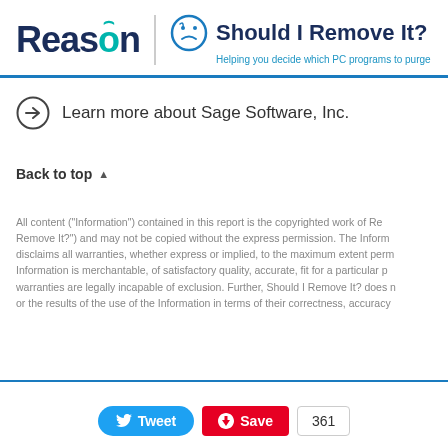Reason | Should I Remove It? Helping you decide which PC programs to purge
Learn more about Sage Software, Inc.
Back to top ▲
All content ("Information") contained in this report is the copyrighted work of Reason ("Should I Remove It?") and may not be copied without the express permission. The Information disclaims all warranties, whether express or implied, to the maximum extent permitted. Information is merchantable, of satisfactory quality, accurate, fit for a particular purpose. warranties are legally incapable of exclusion. Further, Should I Remove It? does not or the results of the use of the Information in terms of their correctness, accuracy
Tweet  Save  361